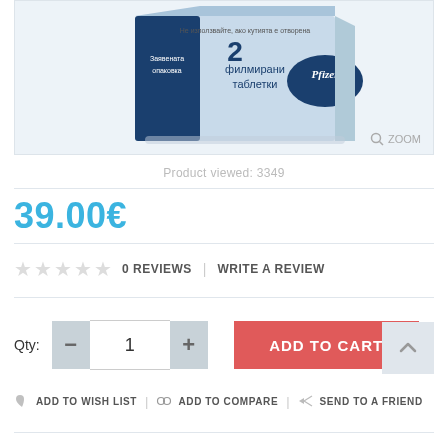[Figure (photo): Pfizer pharmaceutical product box - blister pack of 2 film-coated tablets, blue and white packaging with Pfizer logo and Cyrillic text]
ZOOM
Product viewed: 3349
39.00€
0 REVIEWS  |  WRITE A REVIEW
Qty: 1  ADD TO CART
ADD TO WISH LIST   ADD TO COMPARE   SEND TO A FRIEND